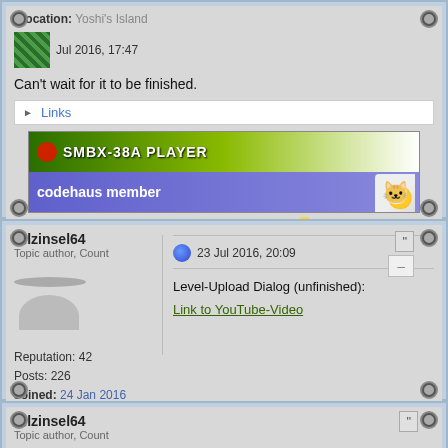Location: Yoshi's Island
Jul 2016, 17:47
Can't wait for it to be finished.
Links
[Figure (illustration): SMBX-38A PLAYER banner with green gradient top and codehaus member blue banner bottom with cat and moon]
"Going to University is FUN!"
Pilzinsel64
Topic author, Count
Reputation: 42
Posts: 226
Joined: 24 Jan 2016
23 Jul 2016, 20:09
Level-Upload Dialog (unfinished):
Link to YouTube-Video
Pilzinsel64
Topic author, Count